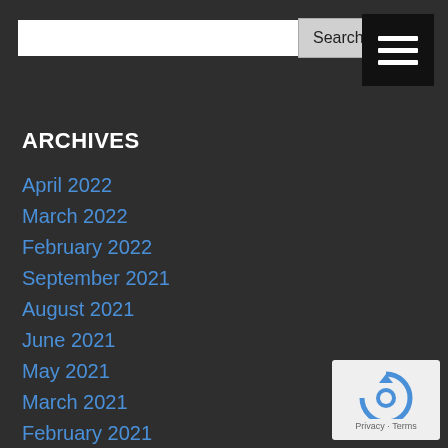Search
ARCHIVES
April 2022
March 2022
February 2022
September 2021
August 2021
June 2021
May 2021
March 2021
February 2021
July 2020
May 2020
April 2020
March 2020
[Figure (logo): reCAPTCHA badge with Privacy and Terms links]